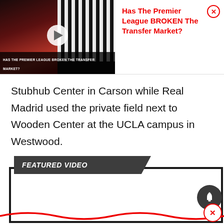[Figure (screenshot): Video thumbnail for 'Has The Premier League BROKEN The Transfer Market?' showing two soccer players, one holding a Manchester United jersey, the other in a Newcastle kit, with a play button overlay and title text at bottom.]
Has The Premier League BROKEN The Transfer Market?
Stubhub Center in Carson while Real Madrid used the private field next to Wooden Center at the UCLA campus in Westwood.
[Figure (screenshot): Featured Video section with dark header bar labeled 'FEATURED VIDEO', a large empty white video frame bordered in dark/black, a notification bell icon (dark circle with bell) at upper right, a red wavy line at the bottom edge, and a close button (X in red circle) at bottom right.]